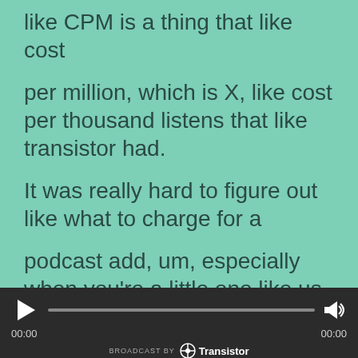like CPM is a thing that like cost
per million, which is X, like cost per thousand listens that like transistor had.
It was really hard to figure out like what to charge for a
podcast add, um, especially when you're a little one like us.
But that felt reasonable and they were willing to pay it.
So cool
[Figure (other): Podcast audio player bar with play button, progress bar, time stamps 00:00 / 00:00, volume button, and Transistor branding]